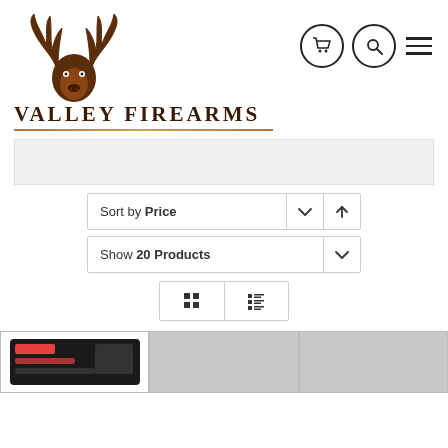[Figure (logo): Valley Firearms logo with deer head and antlers above the text VALLEY FIREARMS with decorative underline]
[Figure (infographic): Navigation icons: shopping cart circle, search circle, hamburger menu]
Sort by Price
Show 20 Products
[Figure (infographic): View toggle buttons: grid view and list view]
[Figure (photo): Product thumbnail showing a black item with red accents, partially cropped at bottom]
[Figure (photo): Product thumbnail gray placeholder, partially cropped at bottom]
[Figure (photo): Product thumbnail gray placeholder, partially cropped at bottom]